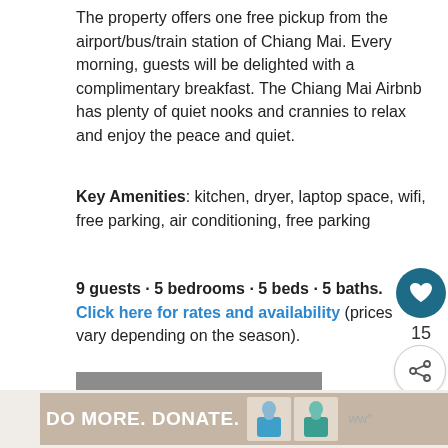The property offers one free pickup from the airport/bus/train station of Chiang Mai. Every morning, guests will be delighted with a complimentary breakfast. The Chiang Mai Airbnb has plenty of quiet nooks and crannies to relax and enjoy the peace and quiet.
Key Amenities: kitchen, dryer, laptop space, wifi, free parking, air conditioning, free parking
9 guests · 5 bedrooms · 5 beds · 5 baths. Click here for rates and availability (prices vary depending on the season).
BOOK NOW!
WHAT'S NEXT → Airbnb Bilbao, Spain: 10 Bilba.
[Figure (infographic): DO MORE. DONATE. advertisement banner with illustrated figures of two people]
15